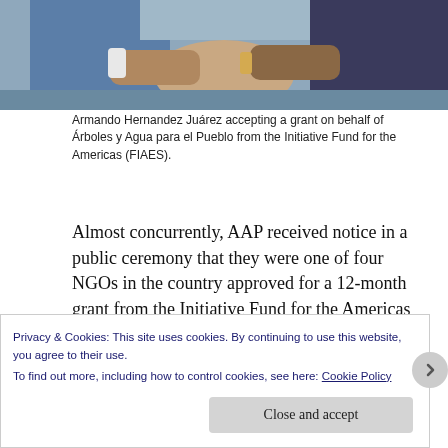[Figure (photo): Two people shaking hands outdoors, partial view of upper bodies.]
Armando Hernandez Juárez accepting a grant on behalf of Árboles y Agua para el Pueblo from the Initiative Fund for the Americas (FIAES).
Almost concurrently, AAP received notice in a public ceremony that they were one of four NGOs in the country approved for a 12-month grant from the Initiative Fund for the Americas (FIAES) to help them expand their programs in San Rafael Los Naranjos. This grant will permit them to continue the important work of making this park a
Privacy & Cookies: This site uses cookies. By continuing to use this website, you agree to their use.
To find out more, including how to control cookies, see here: Cookie Policy
Close and accept